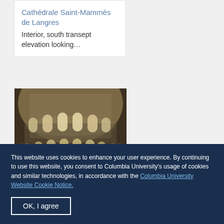Cathédrale Saint-Mammès de Langres
Interior, south transept elevation looking…
[Figure (photo): Interior architectural photograph of Cathédrale Saint-Mammès de Langres showing the dome ceiling with arched windows and ornate stonework]
This website uses cookies to enhance your user experience. By continuing to use this website, you consent to Columbia University's usage of cookies and similar technologies, in accordance with the Columbia University Website Cookie Notice.
OK, I agree